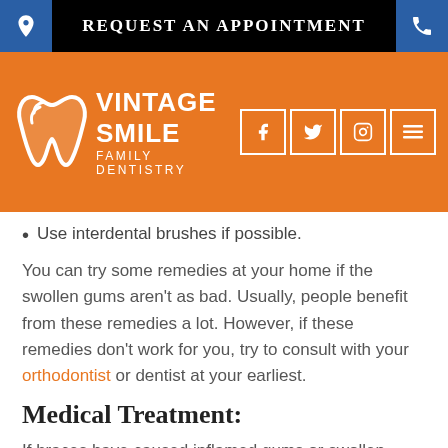REQUEST AN APPOINTMENT
[Figure (logo): Vintage Smile Family Dentistry logo with tooth icon on orange background, social media icons (Facebook, Twitter, Instagram, Menu)]
Use interdental brushes if possible.
You can try some remedies at your home if the swollen gums aren't as bad. Usually, people benefit from these remedies a lot. However, if these remedies don't work for you, try to consult with your orthodontist or dentist at your earliest.
Medical Treatment:
If braces have caused inflamed gums or swollen gums, then seeing a dentist should be on top of